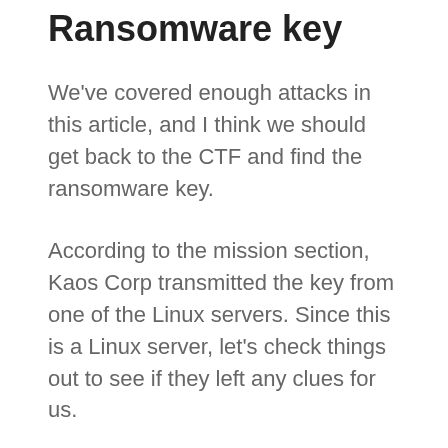Ransomware key
We've covered enough attacks in this article, and I think we should get back to the CTF and find the ransomware key.
According to the mission section, Kaos Corp transmitted the key from one of the Linux servers. Since this is a Linux server, let's check things out to see if they left any clues for us.
In the unauthenticated RCE